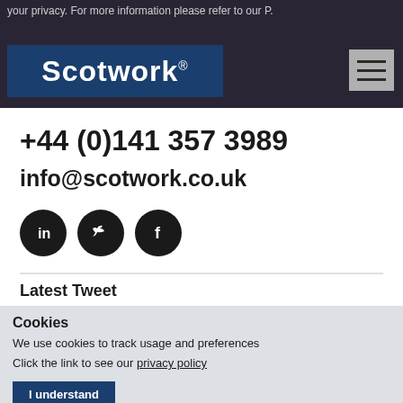your privacy. For more information please refer to our P.
[Figure (logo): Scotwork logo — white text on dark blue rectangle background with registered trademark symbol]
+44 (0)141 357 3989
info@scotwork.co.uk
[Figure (infographic): Three social media icon circles: LinkedIn (in), Twitter (bird), Facebook (f)]
Latest Tweet
Cookies
We use cookies to track usage and preferences
Click the link to see our privacy policy
I understand